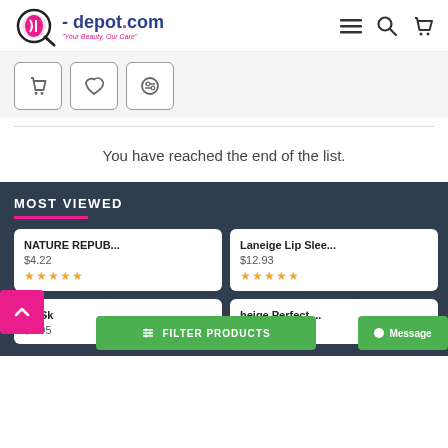- depot.com "Your Beauty, Our Care"
You have reached the end of the list.
MOST VIEWED
NATURE REPUB... $4.22 ★★★★★
Laneige Lip Slee... $12.93 ★★★★★
Its Sk... $0.95
heige Perfect ... .51
FILTER PRODUCTS
Message